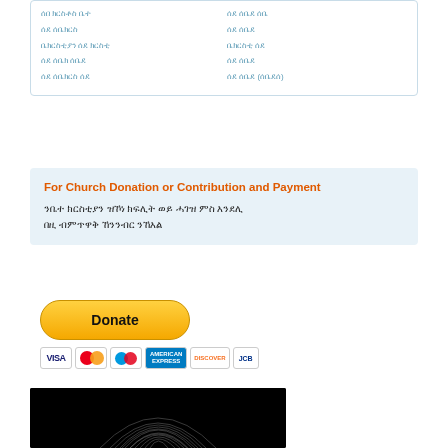ሰበ ክርስቶስ ቤተ
ሰደ ሰቤክርስ
ቤክርስቲያን ሰደ ክርስቲ
ሰደ ሰቤክ ሰቤደ
ሰደ ሰቤክርስ ሰደ
ሰደ ሰቤደ ሰቤ
ሰቤደ ሰደ
ሰደ ሰቤደ
ሰደ ሰቤደ (ሰቤደሰ)
For Church Donation or Contribution and Payment
ንቤተ ክርስቲያን ዝኾነ ክፍሊት ወይ ሓገዝ ምስ እንደሊ በዚ ብምጥዋቅ ኸንንብር ንኸእል
[Figure (other): PayPal Donate button with payment card logos: VISA, Mastercard, Maestro, American Express, Discover, JCB]
[Figure (photo): Black and white close-up photo of what appears to be a person's head/hair from above]